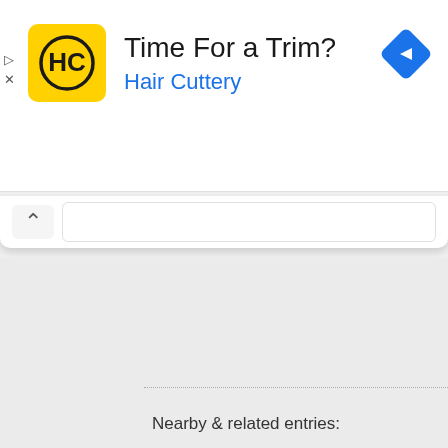[Figure (screenshot): Advertisement banner for Hair Cuttery with yellow HC logo, text 'Time For a Trim?' and 'Hair Cuttery' in blue, and a blue diamond navigation icon on the right. Ad control icons (play and close) on the left.]
[Figure (screenshot): Search bar UI element with chevron/up arrow button on left and white input field.]
Nearby & related entries: